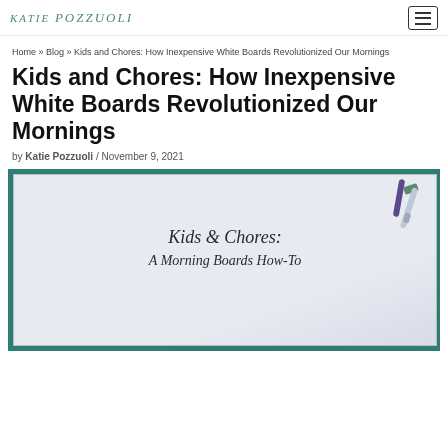KATIE POZZUOLI [logo]
Home » Blog » Kids and Chores: How Inexpensive White Boards Revolutionized Our Mornings
Kids and Chores: How Inexpensive White Boards Revolutionized Our Mornings
by Katie Pozzuoli / November 9, 2021
[Figure (photo): A whiteboard with markers in the top right corner, with handwritten cursive text reading 'Kids & Chores: A Morning Boards How-To' on a teal/green background border]